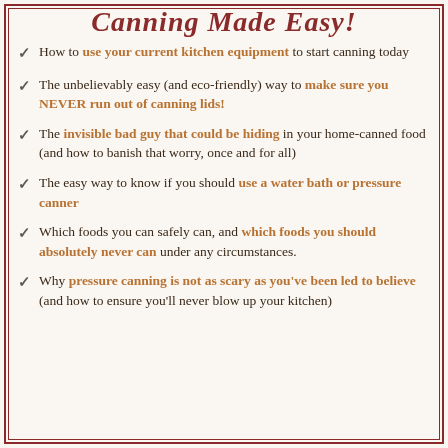Canning Made Easy!
How to use your current kitchen equipment to start canning today
The unbelievably easy (and eco-friendly) way to make sure you NEVER run out of canning lids!
The invisible bad guy that could be hiding in your home-canned food (and how to banish that worry, once and for all)
The easy way to know if you should use a water bath or pressure canner
Which foods you can safely can, and which foods you should absolutely never can under any circumstances.
Why pressure canning is not as scary as you've been led to believe (and how to ensure you'll never blow up your kitchen)